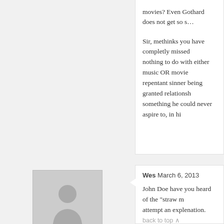movies? Even Gothard does not get so s...
Sir, methinks you have completly missed nothing to do with either music OR movie repentant sinner being granted relationsh something he could never aspire to, in hi
Wes March 6, 2013
John Doe have you heard of the "straw m attempt an explenation. back to top ^
You are misrepresening the positions put articles throughout this website.
To "attack a straw man" is to create the il proposition by replacing it with a superfic proposition (the "straw man"), and to refu actually refuted the original position.
Food for thought.